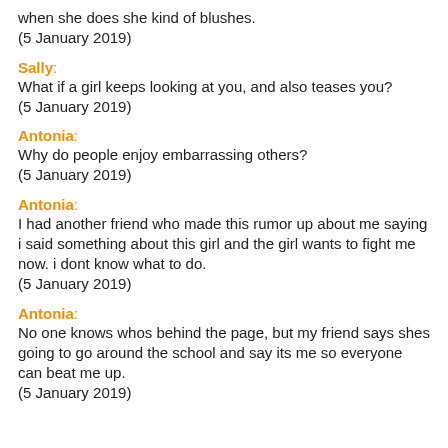when she does she kind of blushes.
(5 January 2019)
Sally:
What if a girl keeps looking at you, and also teases you?
(5 January 2019)
Antonia:
Why do people enjoy embarrassing others?
(5 January 2019)
Antonia:
I had another friend who made this rumor up about me saying i said something about this girl and the girl wants to fight me now. i dont know what to do.
(5 January 2019)
Antonia:
No one knows whos behind the page, but my friend says shes going to go around the school and say its me so everyone can beat me up.
(5 January 2019)